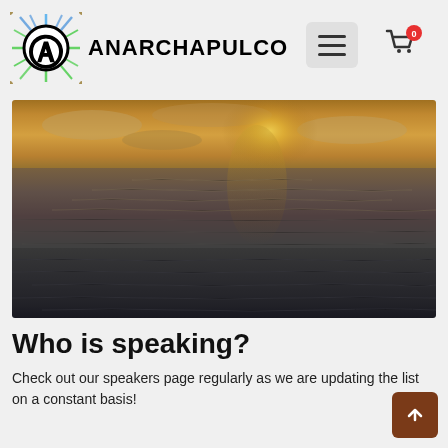ANARCHAPULCO
[Figure (photo): Ocean sunset photo showing dark choppy water with golden/orange sky and sun reflected on the water surface]
Who is speaking?
Check out our speakers page regularly as we are updating the list on a constant basis!